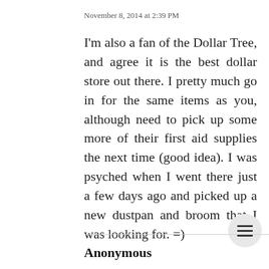November 8, 2014 at 2:39 PM
I'm also a fan of the Dollar Tree, and agree it is the best dollar store out there. I pretty much go in for the same items as you, although need to pick up some more of their first aid supplies the next time (good idea). I was psyched when I went there just a few days ago and picked up a new dustpan and broom that I was looking for. =)
Anonymous